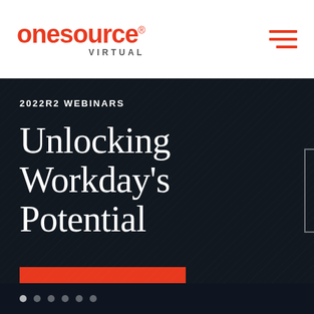onesource VIRTUAL
2022R2 WEBINARS
Unlocking Workday's Potential
DISCOVER UPDATES